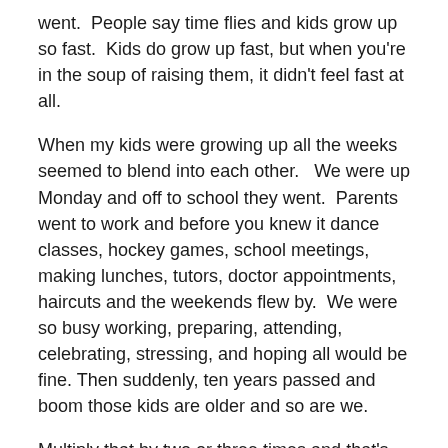went.  People say time flies and kids grow up so fast.  Kids do grow up fast, but when you're in the soup of raising them, it didn't feel fast at all.
When my kids were growing up all the weeks seemed to blend into each other.   We were up Monday and off to school they went.  Parents went to work and before you knew it dance classes, hockey games, school meetings, making lunches, tutors, doctor appointments, haircuts and the weekends flew by.  We were so busy working, preparing, attending, celebrating, stressing, and hoping all would be fine. Then suddenly, ten years passed and boom those kids are older and so are we.
Multiply that by two or three times and that's how I'm old!  So are the kids, and where did the time go?  Are lost in the passage of time?